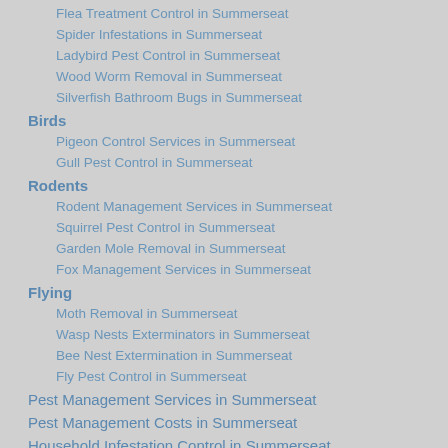Flea Treatment Control in Summerseat
Spider Infestations in Summerseat
Ladybird Pest Control in Summerseat
Wood Worm Removal in Summerseat
Silverfish Bathroom Bugs in Summerseat
Birds
Pigeon Control Services in Summerseat
Gull Pest Control in Summerseat
Rodents
Rodent Management Services in Summerseat
Squirrel Pest Control in Summerseat
Garden Mole Removal in Summerseat
Fox Management Services in Summerseat
Flying
Moth Removal in Summerseat
Wasp Nests Exterminators in Summerseat
Bee Nest Extermination in Summerseat
Fly Pest Control in Summerseat
Pest Management Services in Summerseat
Pest Management Costs in Summerseat
Household Infestation Control in Summerseat
Pest Control at Work in Summerseat